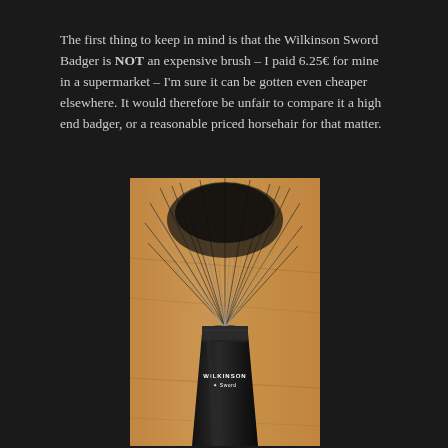The first thing to keep in mind is that the Wilkinson Sword Badger is NOT an expensive brush – I paid 6.25€ for mine in a supermarket – I'm sure it can be gotten even cheaper elsewhere. It would therefore be unfair to compare it a high end badger, or a reasonable priced horsehair for that matter.
[Figure (photo): Close-up photograph of a Wilkinson Sword shaving brush showing grey and black badger hair bristles fanning out at the top, with a black handle base bearing the Wilkinson Sword logo, set against a warm wooden background.]